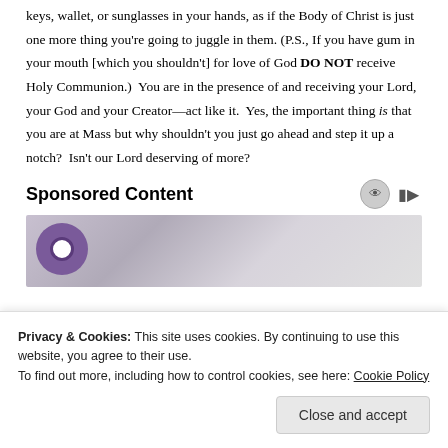keys, wallet, or sunglasses in your hands, as if the Body of Christ is just one more thing you're going to juggle in them. (P.S., If you have gum in your mouth [which you shouldn't] for love of God DO NOT receive Holy Communion.)  You are in the presence of and receiving your Lord, your God and your Creator—act like it.  Yes, the important thing is that you are at Mass but why shouldn't you just go ahead and step it up a notch?  Isn't our Lord deserving of more?
Sponsored Content
[Figure (photo): Partial view of a person or object in grayscale/muted purple tones, appears to be an advertisement image]
Privacy & Cookies: This site uses cookies. By continuing to use this website, you agree to their use.
To find out more, including how to control cookies, see here: Cookie Policy
Close and accept